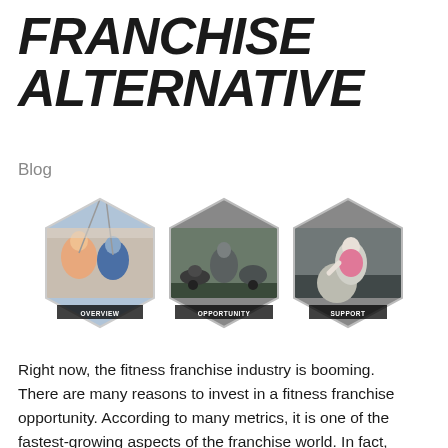FRANCHISE ALTERNATIVE
Blog
[Figure (illustration): Three hexagonal images showing fitness activities: (1) people doing TRX/suspension training labeled OVERVIEW, (2) athletes doing kettlebell/floor exercises labeled OPPORTUNITY, (3) a woman doing squats with an exercise ball labeled SUPPORT]
Right now, the fitness franchise industry is booming.  There are many reasons to invest in a fitness franchise opportunity. According to many metrics, it is one of the fastest-growing aspects of the franchise world. In fact, four of the ten fastest-